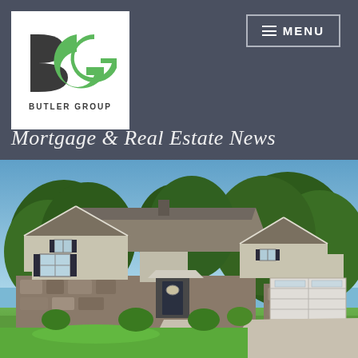[Figure (logo): Butler Group logo — stylized 'BG' letters in dark gray and green, with 'BUTLER GROUP' text below, on white background]
MENU
Mortgage & Real Estate News
[Figure (photo): Exterior photograph of a large single-story residential home with stone facade, white garage doors, and lush green lawn and trees in background under blue sky]